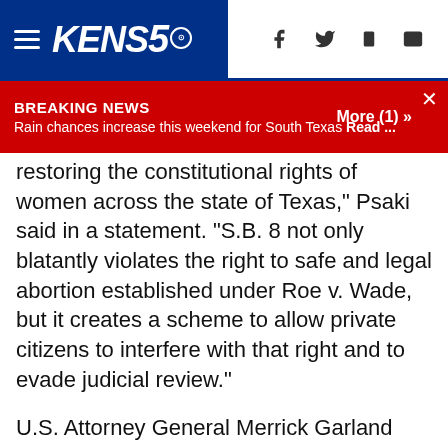KENS5 — Navigation header with logo and social icons
BREAKING NEWS
Rain chances increase this weekend for South Texas Read ... More (1) »
restoring the constitutional rights of women across the state of Texas," Psaki said in a statement. "S.B. 8 not only blatantly violates the right to safe and legal abortion established under Roe v. Wade, but it creates a scheme to allow private citizens to interfere with that right and to evade judicial review."
U.S. Attorney General Merrick Garland called the ruling "a victory for women in Texas and for the rule of law."
The law, signed by Republican Gov. Greg Abbott in May, prohibits abortions once cardiac activity is detected, which is usually around six weeks, before some women even know they are pregnant. To enforce the law, Texas deputized private citizens to file lawsuits against violators, and has entitled them to at least $10,000 in damages if successful.